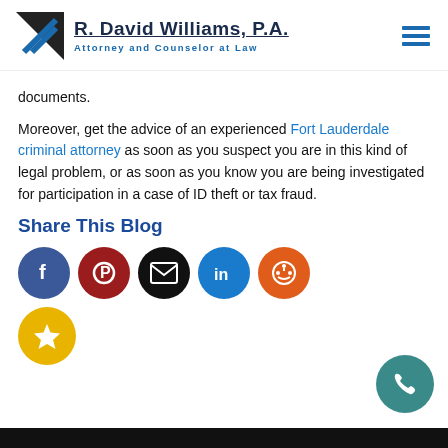R. David Williams, P.A. — Attorney and Counselor at Law
documents.
Moreover, get the advice of an experienced Fort Lauderdale criminal attorney as soon as you suspect you are in this kind of legal problem, or as soon as you know you are being investigated for participation in a case of ID theft or tax fraud.
Share This Blog
[Figure (infographic): Row of social media share icons: Facebook (blue), Pinterest (dark red), Email/Mail (black), LinkedIn (light blue), Reddit (orange), and a star/bookmark icon (yellow). Also a phone icon circle (teal) at bottom right.]